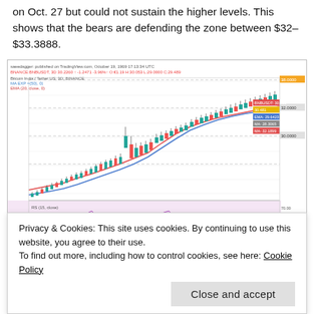on Oct. 27 but could not sustain the higher levels. This shows that the bears are defending the zone between $32–$33.3888.
[Figure (continuous-plot): Candlestick chart of BNBUSDT on a daily timeframe showing price action with two moving averages (blue and red), horizontal dashed resistance/support lines around $33–$34, and a stochastic/RSI indicator panel below with a purple shaded oscillator line.]
Privacy & Cookies: This site uses cookies. By continuing to use this website, you agree to their use.
To find out more, including how to control cookies, see here: Cookie Policy
Close and accept